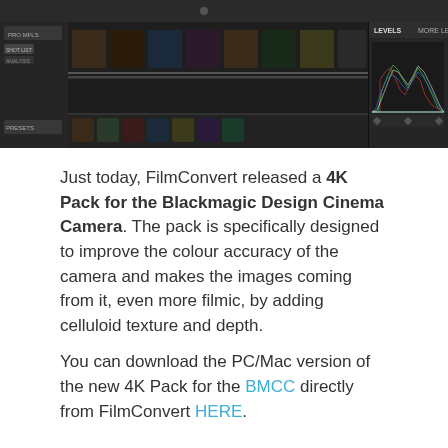[Figure (screenshot): Screenshot of a video editing software interface (likely DaVinci Resolve or similar) showing a dark-themed timeline with thumbnails, a shot list panel on the left, presets panel below, and a Levels histogram panel on the right showing color distribution.]
Just today, FilmConvert released a 4K Pack for the Blackmagic Design Cinema Camera. The pack is specifically designed to improve the colour accuracy of the camera and makes the images coming from it, even more filmic, by adding celluloid texture and depth.
You can download the PC/Mac version of the new 4K Pack for the BMCC directly from FilmConvert HERE.